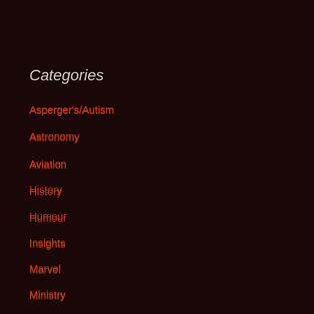Categories
Asperger's/Autism
Astronomy
Aviation
History
Humour
Insights
Marvel
Ministry
Music
Others' stuff
Pages